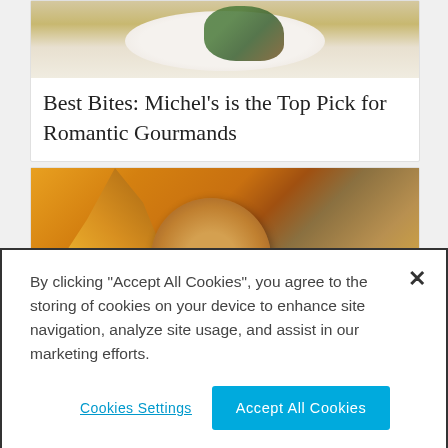[Figure (photo): Top portion of a food photo showing a white plate with green leaves and garnish on a light background]
Best Bites: Michel’s is the Top Pick for Romantic Gourmands
[Figure (photo): Photo of tropical cocktails or desserts with pineapple, dark berries, and caramel-colored drinks or food items]
By clicking “Accept All Cookies”, you agree to the storing of cookies on your device to enhance site navigation, analyze site usage, and assist in our marketing efforts.
Cookies Settings
Accept All Cookies